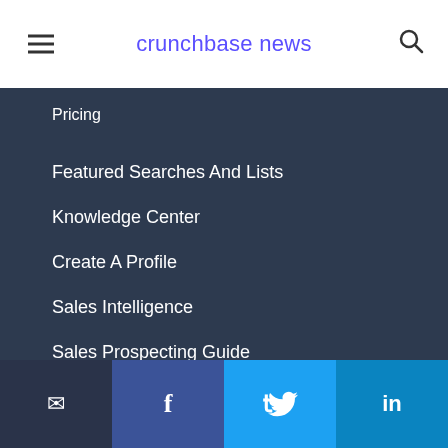crunchbase news
Pricing
Featured Searches And Lists
Knowledge Center
Create A Profile
Sales Intelligence
Sales Prospecting Guide
Sales Prospecting Tools
© 2022 Crunchbase Inc. All Rights Reserved.
email | facebook | twitter | linkedin